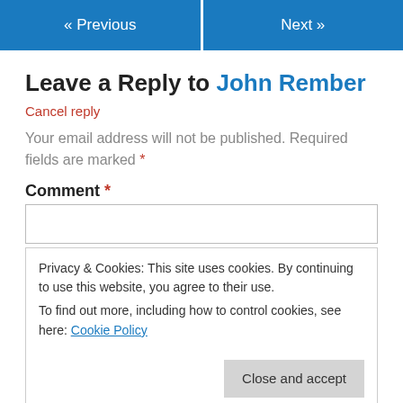« Previous   Next »
Leave a Reply to John Rember
Cancel reply
Your email address will not be published. Required fields are marked *
Comment *
Privacy & Cookies: This site uses cookies. By continuing to use this website, you agree to their use.
To find out more, including how to control cookies, see here: Cookie Policy
Close and accept